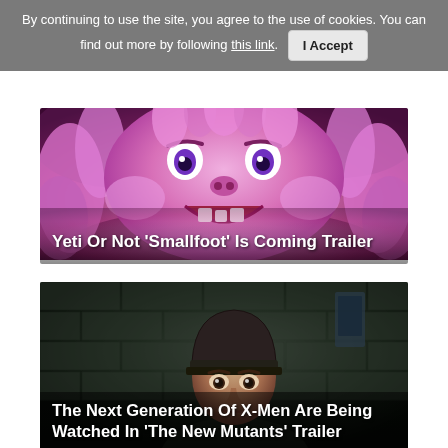By continuing to use the site, you agree to the use of cookies. You can find out more by following this link. I Accept
[Figure (illustration): Animated pink furry monster character from Smallfoot movie, large round face with big eyes and open mouth showing teeth, purple/pink fluffy fur]
Yeti Or Not 'Smallfoot' Is Coming Trailer
[Figure (photo): Young male actor wearing a dark beanie cap, looking slightly startled, dark moody cinematic scene with grey brick wall background, from The New Mutants trailer]
The Next Generation Of X-Men Are Being Watched In 'The New Mutants' Trailer